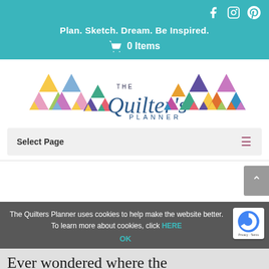Plan. Sketch. Dream. Be Inspired. | 0 Items | Social icons: f, instagram, p
[Figure (logo): The Quilter's Planner logo with colorful triangle patterns and script/sans-serif text]
Select Page
The Quilters Planner uses cookies to help make the website better. To learn more about cookies, click HERE
OK
Ever wondered where the